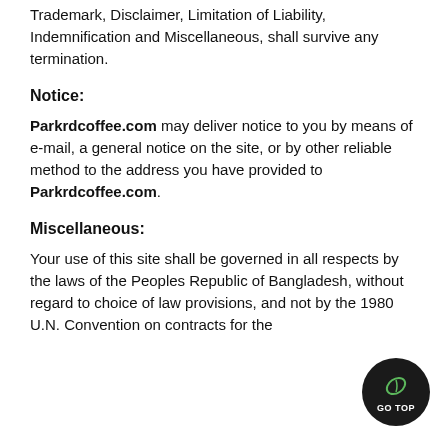Trademark, Disclaimer, Limitation of Liability, Indemnification and Miscellaneous, shall survive any termination.
Notice:
Parkrdcoffee.com may deliver notice to you by means of e-mail, a general notice on the site, or by other reliable method to the address you have provided to Parkrdcoffee.com.
Miscellaneous:
Your use of this site shall be governed in all respects by the laws of the Peoples Republic of Bangladesh, without regard to choice of law provisions, and not by the 1980 U.N. Convention on contracts for the